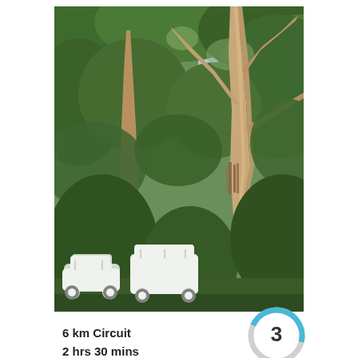[Figure (photo): Looking up through a eucalyptus forest, showing a large smooth-barked gum tree with spreading branches and dense green canopy. Car icons (sedan and SUV/4WD) are overlaid in white at the bottom left of the photo, indicating vehicle access.]
6 km Circuit
2 hrs 30 mins
[Figure (infographic): Circular difficulty gauge showing number 3, with a blue arc indicating moderate difficulty level. Labeled 'Moderate track' below.]